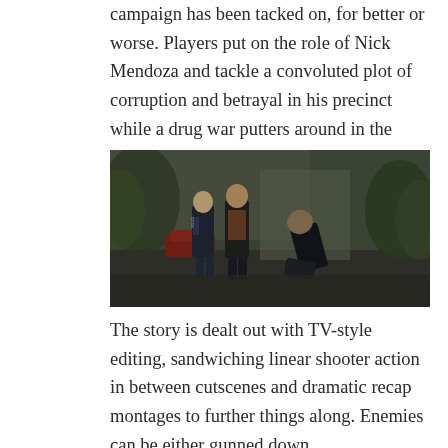campaign has been tacked on, for better or worse. Players put on the role of Nick Mendoza and tackle a convoluted plot of corruption and betrayal in his precinct while a drug war putters around in the background.
[Figure (screenshot): Screenshot from a video game showing three characters in a dark urban environment at night. Two characters stand on the left — one in a police jacket — while a third character crouches or leans forward on the right side of the scene.]
The story is dealt out with TV-style editing, sandwiching linear shooter action in between cutscenes and dramatic recap montages to further things along. Enemies can be either gunned down,